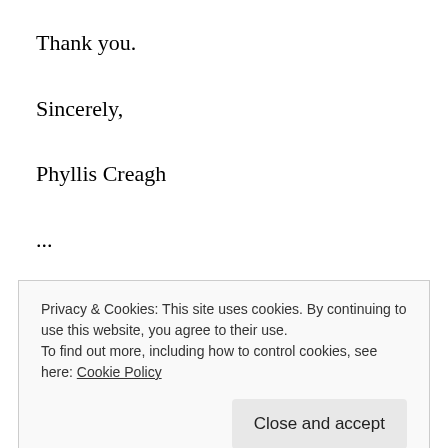Thank you.
Sincerely,
Phyllis Creagh
...
EDITOR’S NOTE: The Star-Courier did not comment on the character of Ms. Kasprzak. We reported on the remarks made by the Ron Paul
Privacy & Cookies: This site uses cookies. By continuing to use this website, you agree to their use.
To find out more, including how to control cookies, see here: Cookie Policy
publishing this letter as a courtesy opinion...